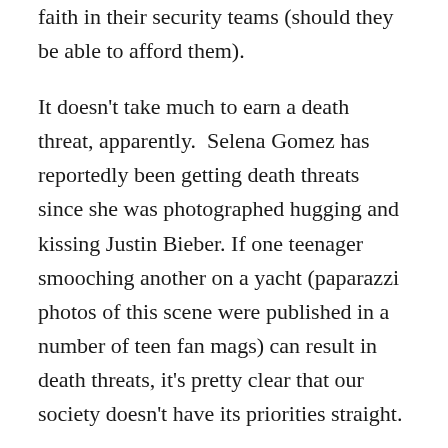faith in their security teams (should they be able to afford them).
It doesn't take much to earn a death threat, apparently. Selena Gomez has reportedly been getting death threats since she was photographed hugging and kissing Justin Bieber. If one teenager smooching another on a yacht (paparazzi photos of this scene were published in a number of teen fan mags) can result in death threats, it's pretty clear that our society doesn't have its priorities straight.
Bristol Palin and her siblings have also been said to have received death threats. Now, Sarah